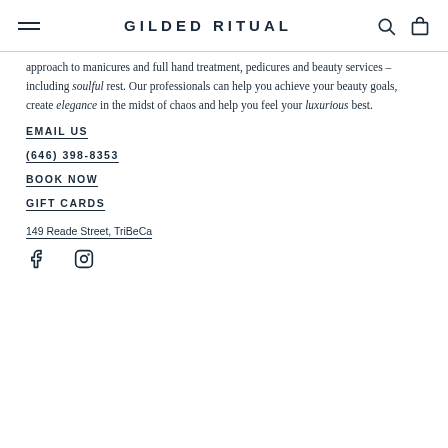GILDED RITUAL
approach to manicures and full hand treatment, pedicures and beauty services – including soulful rest. Our professionals can help you achieve your beauty goals, create elegance in the midst of chaos and help you feel your luxurious best.
EMAIL US
(646) 398-8353
BOOK NOW
GIFT CARDS
149 Reade Street, TriBeCa
[Figure (other): Social media icons: Facebook and Instagram]